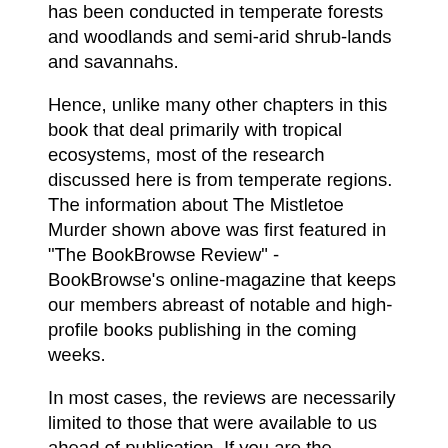has been conducted in temperate forests and woodlands and semi-arid shrub-lands and savannahs.
Hence, unlike many other chapters in this book that deal primarily with tropical ecosystems, most of the research discussed here is from temperate regions. The information about The Mistletoe Murder shown above was first featured in "The BookBrowse Review" - BookBrowse's online-magazine that keeps our members abreast of notable and high-profile books publishing in the coming weeks.
In most cases, the reviews are necessarily limited to those that were available to us ahead of publication. If you are the publisher or author of this book and feel. Mistletoe literature of the world: a user's guide to a FAMULUS retrieval system Author: Robert F Scharpf ; Frank G Hawksworth ; Bernard J Erickson ; Rocky Mountain Forest and Range Experiment Station (Fort Collins, Colo.).
World Book Online is an engaging, verified, and trustworthy digital resource for grades pre-K through high school. Become a World Book Insider. Stay up to speed on all we have to offer-plus